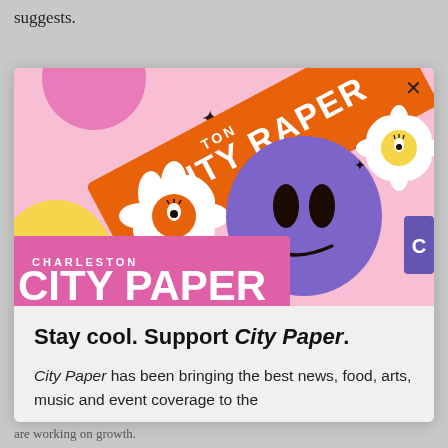suggests.
[Figure (illustration): Charleston City Paper promotional illustration with colorful cartoon characters including a smiley face, daisy flowers with eye centers, orange City Paper logo banner, purple blob smiley face, and a pink City Paper banner on a pink background. An X close button is visible in the top right corner.]
Stay cool. Support City Paper.
City Paper has been bringing the best news, food, arts, music and event coverage to the
are working on growth.